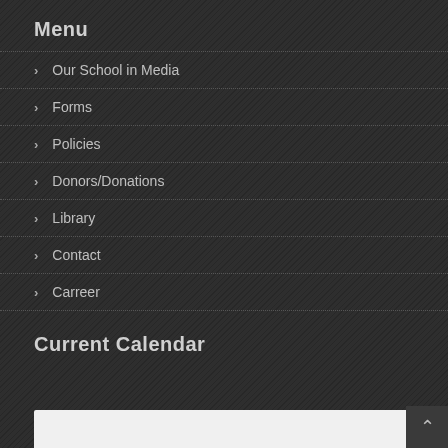Menu
Our School in Media
Forms
Policies
Donors/Donations
Library
Contact
Carreer
Current Calendar